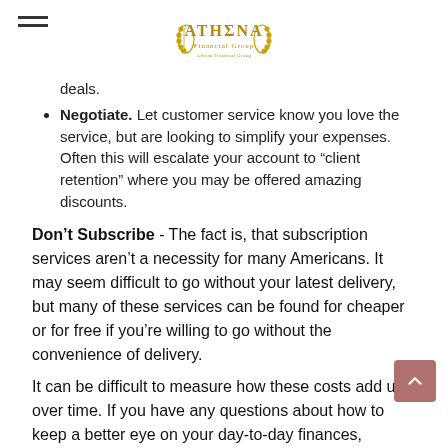ATHENA Financial Group
deals.
Negotiate. Let customer service know you love the service, but are looking to simplify your expenses. Often this will escalate your account to “client retention” where you may be offered amazing discounts.
Don’t Subscribe
Don’t Subscribe - The fact is, that subscription services aren’t a necessity for many Americans. It may seem difficult to go without your latest delivery, but many of these services can be found for cheaper or for free if you’re willing to go without the convenience of delivery.
It can be difficult to measure how these costs add up over time. If you have any questions about how to keep a better eye on your day-to-day finances,